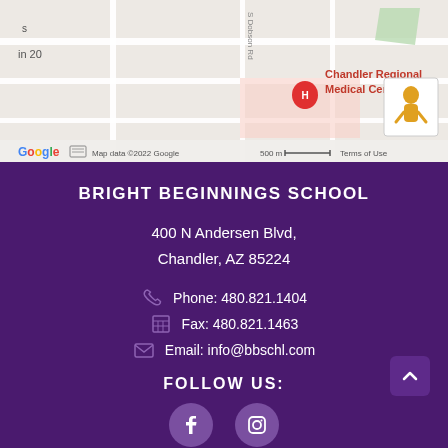[Figure (map): Google Maps screenshot showing Chandler Regional Medical Center location near S Dobson Rd, with map data ©2022 Google, 500m scale bar, Terms of Use link]
BRIGHT BEGINNINGS SCHOOL
400 N Andersen Blvd,
Chandler, AZ 85224
Phone: 480.821.1404
Fax: 480.821.1463
Email: info@bbschl.com
FOLLOW US:
[Figure (illustration): Facebook and Instagram social media icons in purple circles at bottom of page]